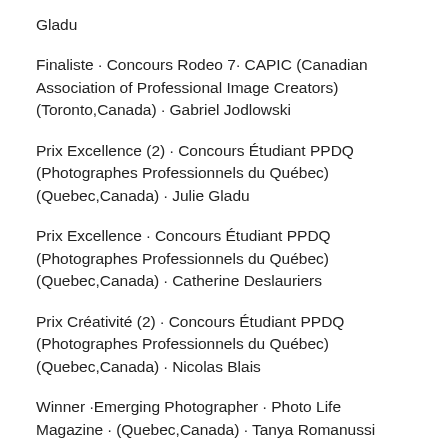Gladu
Finaliste · Concours Rodeo 7· CAPIC (Canadian Association of Professional Image Creators)  (Toronto,Canada) · Gabriel Jodlowski
Prix Excellence (2) · Concours Étudiant PPDQ (Photographes Professionnels du Québec) (Quebec,Canada) · Julie Gladu
Prix Excellence · Concours Étudiant PPDQ (Photographes Professionnels du Québec) (Quebec,Canada) · Catherine Deslauriers
Prix Créativité (2) · Concours Étudiant PPDQ (Photographes Professionnels du Québec) (Quebec,Canada) · Nicolas Blais
Winner ·Emerging Photographer · Photo Life Magazine · (Quebec,Canada) · Tanya Romanussi